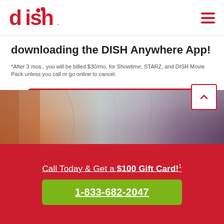dish [logo] [hamburger menu]
downloading the DISH Anywhere App!
*After 3 mos., you will be billed $30/mo. for Showtime, STARZ, and DISH Movie Pack unless you call or go online to cancel.
View The Best Current DISH Deals
[Figure (photo): Interior tent photo with warm orange and cool blue/purple tones]
Call Today & Get a $100 Gift Card!1
1-833-682-2047